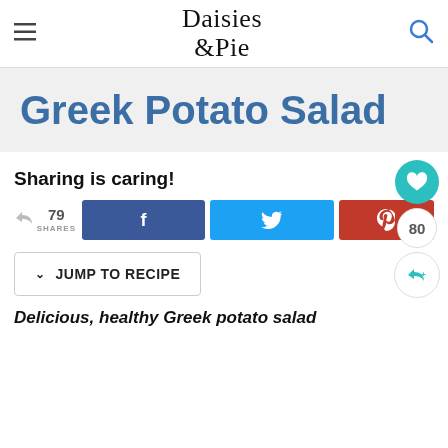Daisies &Pie
Greek Potato Salad
Sharing is caring!
79 SHARES
f
t
P
80
↓ JUMP TO RECIPE
Delicious, healthy Greek potato salad